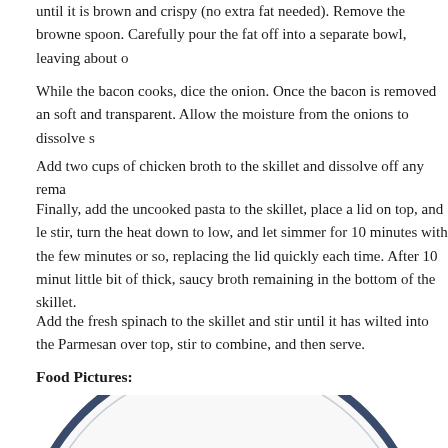until it is brown and crispy (no extra fat needed). Remove the browne spoon. Carefully pour the fat off into a separate bowl, leaving about o
While the bacon cooks, dice the onion. Once the bacon is removed an soft and transparent. Allow the moisture from the onions to dissolve s
Add two cups of chicken broth to the skillet and dissolve off any rema
Finally, add the uncooked pasta to the skillet, place a lid on top, and le stir, turn the heat down to low, and let simmer for 10 minutes with the few minutes or so, replacing the lid quickly each time. After 10 minut little bit of thick, saucy broth remaining in the bottom of the skillet.
Add the fresh spinach to the skillet and stir until it has wilted into the Parmesan over top, stir to combine, and then serve.
Food Pictures:
[Figure (photo): A white plate with a blue rim containing a pasta dish with spinach and other ingredients, viewed from above/side angle. The plate is partially visible, cropped at the bottom of the page.]